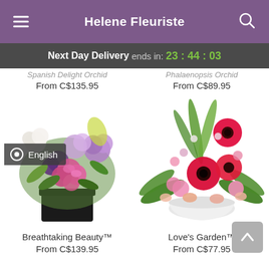Helene Fleuriste
Next Day Delivery ends in: 23:44:03
Spanish Delight Orchid – From C$135.95
Phalaenopsis Orchid – From C$89.95
[Figure (photo): Breathtaking Beauty flower arrangement – purple and pink roses and mixed flowers in a black square vase]
[Figure (photo): Love's Garden flower arrangement – red gerberas, pink carnations and mixed flowers in a white bowl]
Breathtaking Beauty™
From C$139.95
Love's Garden™
From C$77.95